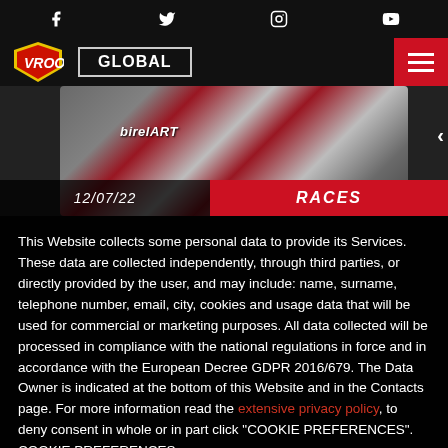Social media icons: Facebook, Twitter, Instagram, YouTube
VROO!! GLOBAL [navigation menu]
[Figure (photo): Race kart with BirelART livery (red/white) on track. Date label: 12/07/22, Category label: RACES]
This Website collects some personal data to provide its Services. These data are collected independently, through third parties, or directly provided by the user, and may include: name, surname, telephone number, email, city, cookies and usage data that will be used for commercial or marketing purposes. All data collected will be processed in compliance with the national regulations in force and in accordance with the European Decree GDPR 2016/679. The Data Owner is indicated at the bottom of this Website and in the Contacts page. For more information read the extensive privacy policy, to deny consent in whole or in part click "COOKIE PREFERENCES". COOKIE PREFERENCES
AGREE | No, thanks
[Figure (logo): BirelART logo with www.birelart.com URL at bottom of page]